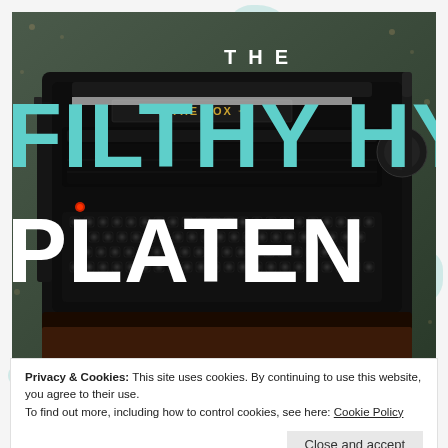[Figure (photo): A vintage black typewriter (labeled 'THE FOX') photographed against a decorative green background. Large text overlays read 'THE' in white at top center, 'FILTHY HY' in teal/cyan large bold letters across the middle, and 'PLATEN' in white large bold letters across the bottom of the image. The text is partially cut off on the right side.]
Privacy & Cookies: This site uses cookies. By continuing to use this website, you agree to their use.
To find out more, including how to control cookies, see here: Cookie Policy
Close and accept
the Royal R